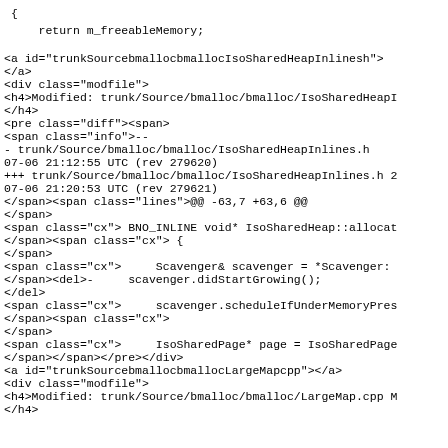</span><span class="cx"> {
</span><span class="cx">     return m_freeableMemory;
</span></span></pre></div>
<a id="trunkSourcebmallocbmallocIsoSharedHeapInlinesh">
</a>
<div class="modfile">
<h4>Modified: trunk/Source/bmalloc/bmalloc/IsoSharedHeapI
</h4>
<pre class="diff"><span>
<span class="info">--
- trunk/Source/bmalloc/bmalloc/IsoSharedHeapInlines.h
07-06 21:12:55 UTC (rev 279620)
+++ trunk/Source/bmalloc/bmalloc/IsoSharedHeapInlines.h 2
07-06 21:20:53 UTC (rev 279621)
</span><span class="lines">@@ -63,7 +63,6 @@
</span>
<span class="cx"> BNO_INLINE void* IsoSharedHeap::allocat
</span><span class="cx"> {
</span>
<span class="cx">     Scavenger& scavenger = *Scavenger:
</span><del>-     scavenger.didStartGrowing();
</del>
<span class="cx">     scavenger.scheduleIfUnderMemoryPres
</span><span class="cx">
</span>
<span class="cx">     IsoSharedPage* page = IsoSharedPage
</span></span></pre></div>
<a id="trunkSourcebmallocbmallocLargeMapcpp"></a>
<div class="modfile">
<h4>Modified: trunk/Source/bmalloc/bmalloc/LargeMap.cpp M
</h4>